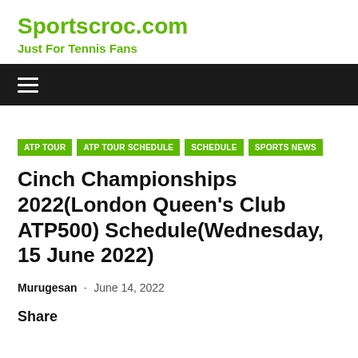Sportscroc.com
Just For Tennis Fans
≡ (navigation menu)
ATP TOUR  ATP TOUR SCHEDULE  SCHEDULE  SPORTS NEWS
Cinch Championships 2022(London Queen's Club ATP500) Schedule(Wednesday, 15 June 2022)
Murugesan  -  June 14, 2022
Share